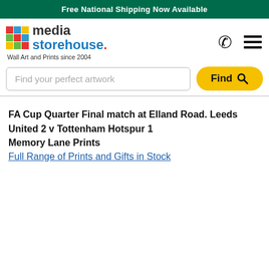Free National Shipping Now Available
[Figure (logo): Media Storehouse logo with colorful grid icon and text 'media storehouse.' with tagline 'Wall Art and Prints since 2004']
Find your perfect artwork
FA Cup Quarter Final match at Elland Road. Leeds United 2 v Tottenham Hotspur 1
Memory Lane Prints
Full Range of Prints and Gifts in Stock